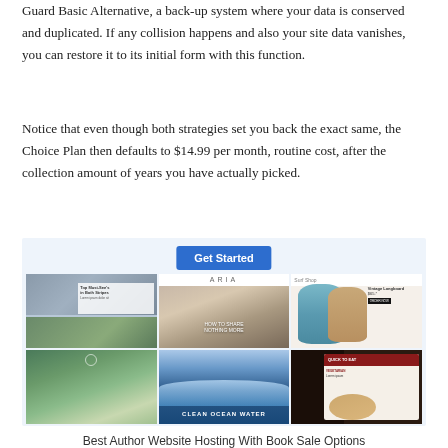Guard Basic Alternative, a back-up system where your data is conserved and duplicated. If any collision happens and also your site data vanishes, you can restore it to its initial form with this function.
Notice that even though both strategies set you back the exact same, the Choice Plan then defaults to $14.99 per month, routine cost, after the collection amount of years you have actually picked.
[Figure (screenshot): A grid of six website screenshots showing various templates including a news/blog site, ARIA spa/wellness site, a surf shop, a forest nature site, an ocean wave site, and a dark restaurant/food site. A blue 'Get Started' button appears at the top center.]
Best Author Website Hosting With Book Sale Options